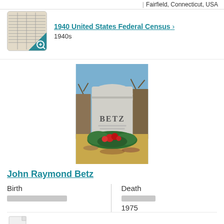| Fairfield, Connecticut, USA
[Figure (screenshot): Census record thumbnail for 1940 United States Federal Census]
1940 United States Federal Census > 1940s
[Figure (photo): Photograph of a gravestone reading BETZ with red flower wreaths and greenery at the base, outdoors in a cemetery with bare trees in the background]
John Raymond Betz
Birth
Death
1975
Public Member Photos & Scanned